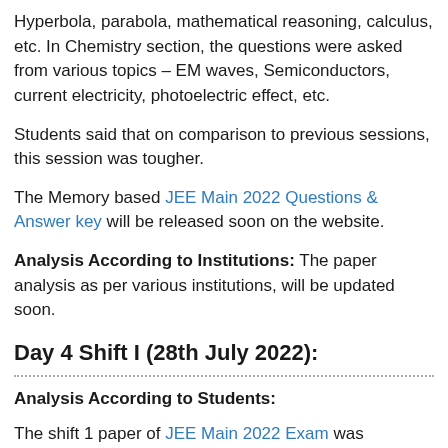Hyperbola, parabola, mathematical reasoning, calculus, etc. In Chemistry section, the questions were asked from various topics – EM waves, Semiconductors, current electricity, photoelectric effect, etc.
Students said that on comparison to previous sessions, this session was tougher.
The Memory based JEE Main 2022 Questions & Answer key will be released soon on the website.
Analysis According to Institutions: The paper analysis as per various institutions, will be updated soon.
Day 4 Shift I (28th July 2022):
Analysis According to Students:
The shift 1 paper of JEE Main 2022 Exam was conducted from 9